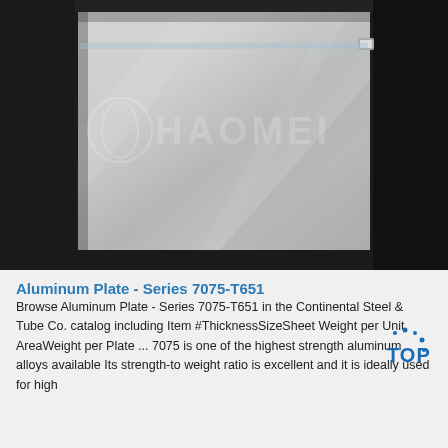[Figure (photo): Photo of an aluminum plate (Series 7075-T651) with a metallic silver surface and dark metal frame around it. Blue protective film is visible at the top. A watermark reading 'HAOMEI' appears on the plate. The plate has a reflective, brushed metal appearance.]
Aluminum Plate - Series 7075-T651
Browse Aluminum Plate - Series 7075-T651 in the Continental Steel & Tube Co. catalog including Item #ThicknessSizeSheet Weight per Unit AreaWeight per Plate ... 7075 is one of the highest strength aluminum alloys available Its strength-to weight ratio is excellent and it is ideally used for high performance apps. AMS QQ-A-250/12 ASTM...